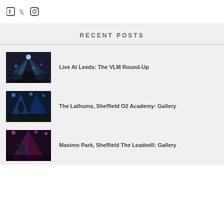[Figure (logo): Social media icons: Facebook, Twitter, Instagram]
RECENT POSTS
[Figure (photo): Concert photo showing crowd and blue stage lighting from above]
Live At Leeds: The VLM Round-Up
[Figure (photo): Concert photo with blue lighting, performer on stage and crowd below]
The Lathums, Sheffield O2 Academy: Gallery
[Figure (photo): Concert photo with purple/pink lighting, performer in foreground]
Maximo Park, Sheffield The Leadmill: Gallery